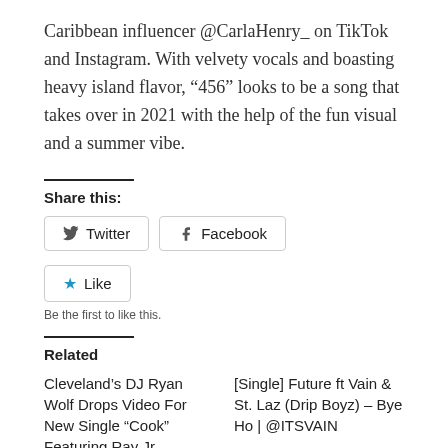Caribbean influencer @CarlaHenry_ on TikTok and Instagram. With velvety vocals and boasting heavy island flavor, “456” looks to be a song that takes over in 2021 with the help of the fun visual and a summer vibe.
Share this:
Twitter  Facebook
★ Like
Be the first to like this.
Related
Cleveland’s DJ Ryan Wolf Drops Video For New Single “Cook” Featuring Ray Jr.
[Single] Future ft Vain & St. Laz (Drip Boyz) – Bye Ho | @ITSVAIN